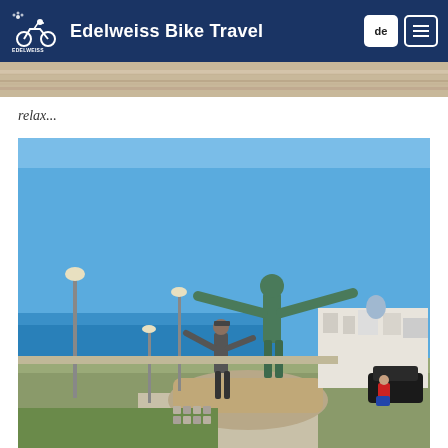Edelweiss Bike Travel
[Figure (photo): Partial top strip of a sandy/stone texture photo, cropped]
relax...
[Figure (photo): A person posing with arms outstretched mimicking a large bronze statue on a rocky plinth, with the sea, white buildings of an Italian coastal town, and blue sky in the background. Street lamps and a promenade are visible.]